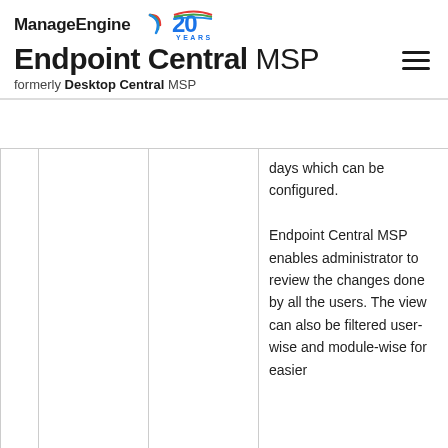ManageEngine 20 YEARS Endpoint Central MSP formerly Desktop Central MSP
|  |  |  | days which can be configured.

Endpoint Central MSP enables administrator to review the changes done by all the users. The view can also be filtered user-wise and module-wise for easier |